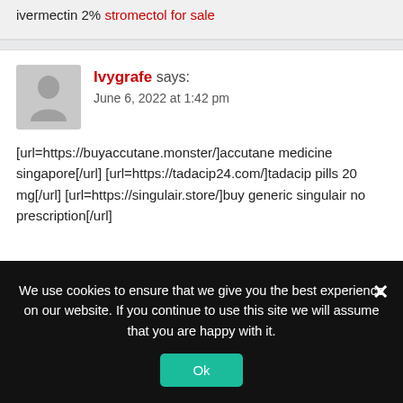ivermectin 2% stromectol for sale
[Figure (illustration): Gray placeholder avatar silhouette icon]
Ivygrafe says:
June 6, 2022 at 1:42 pm
[url=https://buyaccutane.monster/]accutane medicine singapore[/url] [url=https://tadacip24.com/]tadacip pills 20 mg[/url] [url=https://singulair.store/]buy generic singulair no prescription[/url]
We use cookies to ensure that we give you the best experience on our website. If you continue to use this site we will assume that you are happy with it.